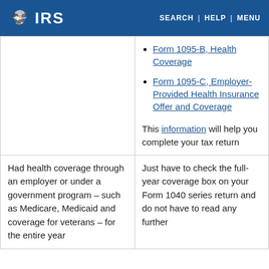IRS | SEARCH | HELP | MENU
Form 1095-B, Health Coverage
Form 1095-C, Employer-Provided Health Insurance Offer and Coverage
This information will help you complete your tax return
Had health coverage through an employer or under a government program – such as Medicare, Medicaid and coverage for veterans – for the entire year
Just have to check the full-year coverage box on your Form 1040 series return and do not have to read any further